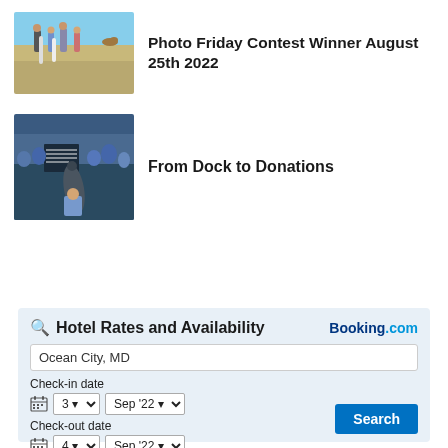[Figure (photo): Beach scene with family holding surfboards]
Photo Friday Contest Winner August 25th 2022
[Figure (photo): Dock scene with people and large fish, tournament]
From Dock to Donations
[Figure (infographic): Hotel Rates and Availability booking widget from Booking.com. Search location: Ocean City, MD. Check-in date: 3 Sep '22. Check-out date: 4 Sep '22. Search button.]